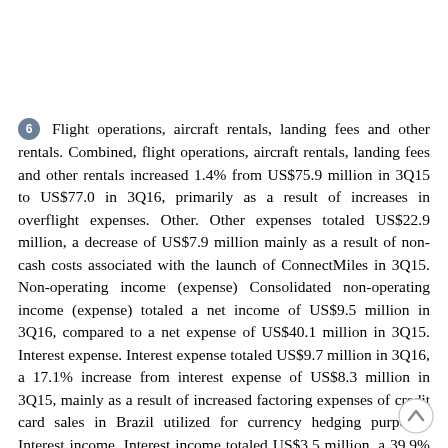6  Flight operations, aircraft rentals, landing fees and other rentals. Combined, flight operations, aircraft rentals, landing fees and other rentals increased 1.4% from US$75.9 million in 3Q15 to US$77.0 in 3Q16, primarily as a result of increases in overflight expenses. Other. Other expenses totaled US$22.9 million, a decrease of US$7.9 million mainly as a result of non-cash costs associated with the launch of ConnectMiles in 3Q15. Non-operating income (expense) Consolidated non-operating income (expense) totaled a net income of US$9.5 million in 3Q16, compared to a net expense of US$40.1 million in 3Q15. Interest expense. Interest expense totaled US$9.7 million in 3Q16, a 17.1% increase from interest expense of US$8.3 million in 3Q15, mainly as a result of increased factoring expenses of credit card sales in Brazil utilized for currency hedging purposes. Interest income. Interest income totaled US$3.5 million, a 39.9% decrease over interest income of US$5.7